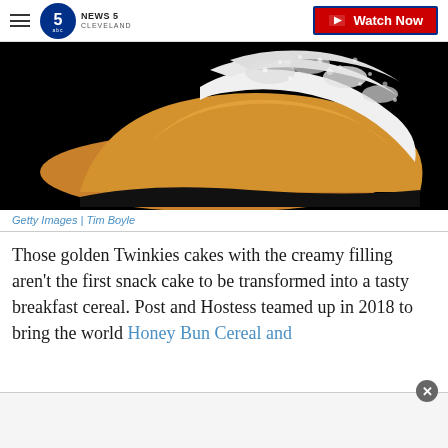NEWS 5 CLEVELAND | Watch Now
[Figure (photo): Close-up photo of a Twinkie snack cake broken open showing golden sponge cake and white creamy filling against a black background]
Getty Images | Tim Boyle
Those golden Twinkies cakes with the creamy filling aren't the first snack cake to be transformed into a tasty breakfast cereal. Post and Hostess teamed up in 2018 to bring the world Honey Bun Cereal and